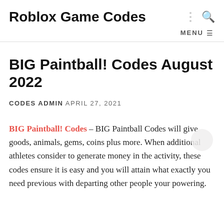Roblox Game Codes
BIG Paintball! Codes August 2022
CODES ADMIN APRIL 27, 2021
BIG Paintball! Codes – BIG Paintball Codes will give goods, animals, gems, coins plus more. When additional athletes consider to generate money in the activity, these codes ensure it is easy and you will attain what exactly you need previous with departing other people your powering.